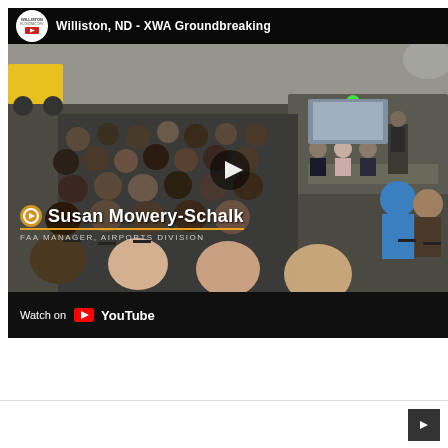[Figure (screenshot): YouTube video thumbnail showing a groundbreaking ceremony for Williston, ND - XWA airport. The video shows an outdoor tent event with audience members seated, a stage with speakers, balloons, and construction equipment visible. The lower third identifies Susan Mowery-Schalk as FAA Manager, Airports Division. A play button is centered on the video. The bottom bar shows 'Watch on YouTube'.]